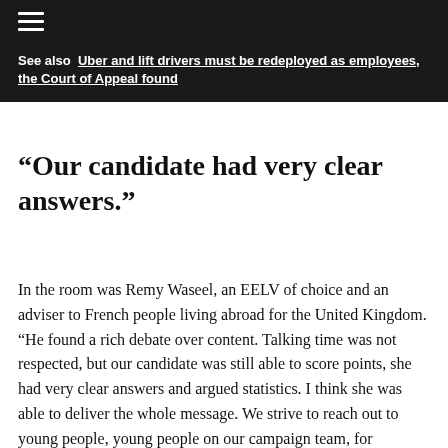☰
See also  Uber and lift drivers must be redeployed as employees, the Court of Appeal found
“Our candidate had very clear answers.”
In the room was Remy Waseel, an EELV of choice and an adviser to French people living abroad for the United Kingdom. “He found a rich debate over content. Talking time was not respected, but our candidate was still able to score points, she had very clear answers and argued statistics. I think she was able to deliver the whole message. We strive to reach out to young people, young people on our campaign team, for example, who are